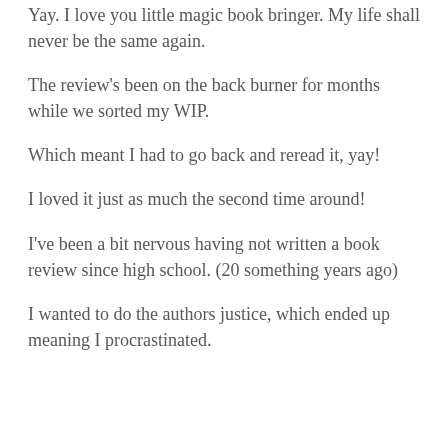Yay. I love you little magic book bringer. My life shall never be the same again.
The review's been on the back burner for months while we sorted my WIP.
Which meant I had to go back and reread it, yay!
I loved it just as much the second time around!
I've been a bit nervous having not written a book review since high school. (20 something years ago)
I wanted to do the authors justice, which ended up meaning I procrastinated.